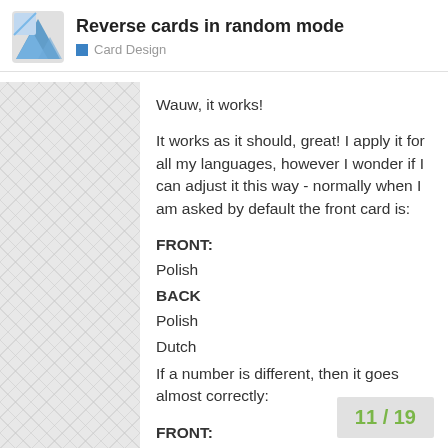Reverse cards in random mode
Card Design
Wauw, it works!
It works as it should, great! I apply it for all my languages, however I wonder if I can adjust it this way - normally when I am asked by default the front card is:
FRONT:
Polish
BACK
Polish
Dutch
If a number is different, then it goes almost correctly:
FRONT:
Dutch
BACK
11 / 19